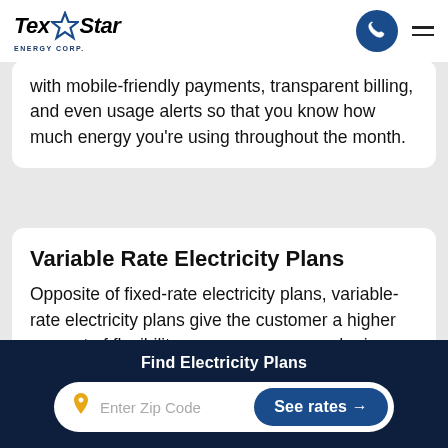[Figure (logo): Tex Star Energy Corp logo with star graphic, phone button, and hamburger menu in page header]
with mobile-friendly payments, transparent billing, and even usage alerts so that you know how much energy you're using throughout the month.
Variable Rate Electricity Plans
Opposite of fixed-rate electricity plans, variable-rate electricity plans give the customer a higher amount of flexibility over your usage and prices. Taking control of your utilities
Find Electricity Plans
Enter Zip Code
See rates →